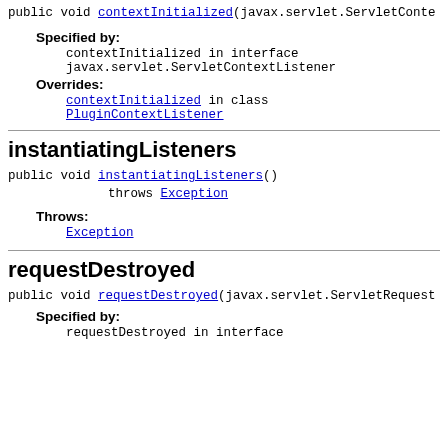public void contextInitialized(javax.servlet.ServletConte
Specified by:
contextInitialized in interface javax.servlet.ServletContextListener
Overrides:
contextInitialized in class PluginContextListener
instantiatingListeners
public void instantiatingListeners() throws Exception
Throws:
Exception
requestDestroyed
public void requestDestroyed(javax.servlet.ServletRequest
Specified by:
requestDestroyed in interface